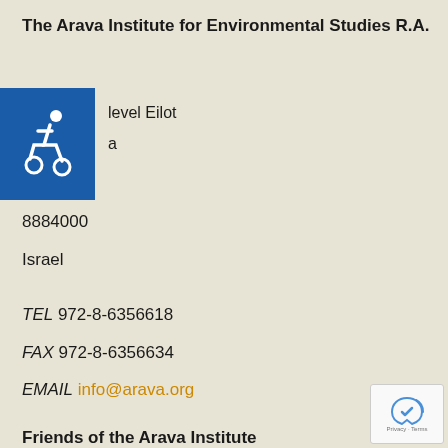The Arava Institute for Environmental Studies R.A.
[Figure (logo): Blue accessibility wheelchair icon on blue square background]
level Eilot
a
8884000
Israel
TEL 972-8-6356618
FAX 972-8-6356634
EMAIL info@arava.org
Friends of the Arava Institute
1320 Centre Street, Suite 206
Newton Centre, MA 02459, USA
TEL 1-617-266-7100
[Figure (logo): Google reCAPTCHA badge with Privacy and Terms text]